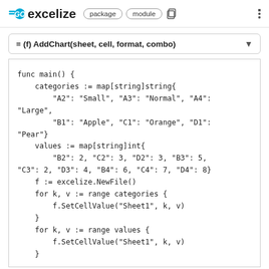GO excelize  package  module
(f) AddChart(sheet, cell, format, combo)
func main() {
    categories := map[string]string{
        "A2": "Small", "A3": "Normal", "A4": "Large",
        "B1": "Apple", "C1": "Orange", "D1": "Pear"}
    values := map[string]int{
        "B2": 2, "C2": 3, "D2": 3, "B3": 5,
"C3": 2, "D3": 4, "B4": 6, "C4": 7, "D4": 8}
    f := excelize.NewFile()
    for k, v := range categories {
        f.SetCellValue("Sheet1", k, v)
    }
    for k, v := range values {
        f.SetCellValue("Sheet1", k, v)
    }